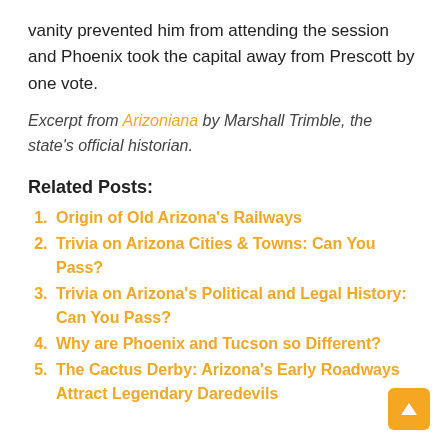vanity prevented him from attending the session and Phoenix took the capital away from Prescott by one vote.
Excerpt from Arizoniana by Marshall Trimble, the state's official historian.
Related Posts:
Origin of Old Arizona's Railways
Trivia on Arizona Cities & Towns: Can You Pass?
Trivia on Arizona's Political and Legal History: Can You Pass?
Why are Phoenix and Tucson so Different?
The Cactus Derby: Arizona's Early Roadways Attract Legendary Daredevils